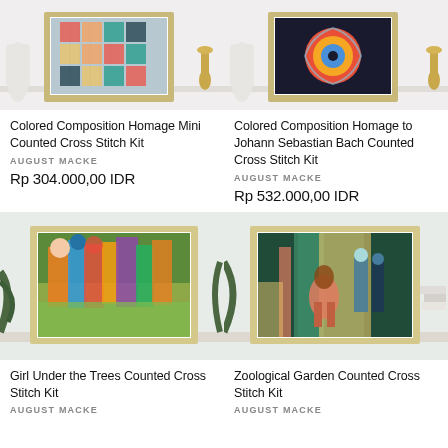[Figure (photo): Product photo of Colored Composition Homage Mini Counted Cross Stitch Kit in frame on shelf]
[Figure (photo): Product photo of Colored Composition Homage to Johann Sebastian Bach Counted Cross Stitch Kit in frame on shelf]
Colored Composition Homage Mini Counted Cross Stitch Kit
AUGUST MACKE
Rp 304.000,00 IDR
Colored Composition Homage to Johann Sebastian Bach Counted Cross Stitch Kit
AUGUST MACKE
Rp 532.000,00 IDR
[Figure (photo): Product photo of Girl Under the Trees Counted Cross Stitch Kit in frame on shelf]
[Figure (photo): Product photo of Zoological Garden Counted Cross Stitch Kit in frame on shelf]
Girl Under the Trees Counted Cross Stitch Kit
AUGUST MACKE
Zoological Garden Counted Cross Stitch Kit
AUGUST MACKE